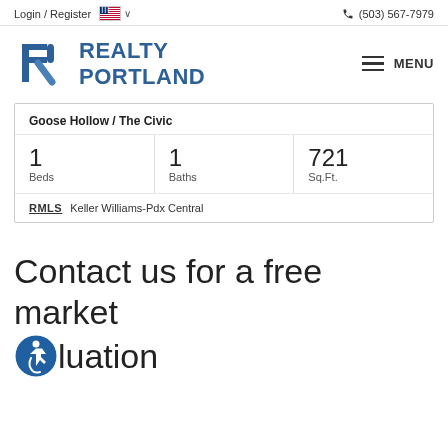Login / Register  🇺🇸 ∨  (503) 567-7979
[Figure (logo): Realty Portland logo with stylized R icon in blue and bold text REALTY PORTLAND]
≡ MENU
| Goose Hollow / The Civic |  |  |
| 1 Beds | 1 Baths | 721 Sq.Ft. |
| RMLS  Keller Williams-Pdx Central |  |  |
Contact us for a free market valuation